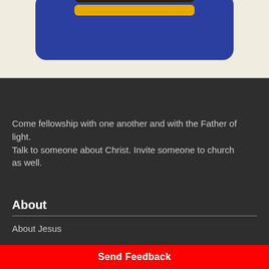[Figure (illustration): App screenshot or logo card — a dark navy/blue rounded rectangle with a dark top area and a gold/yellow horizontal stripe, set against a cream/beige background]
Come fellowship with one another and with the Father of light.
Talk to someone about Christ. Invite someone to church as well.
About
About Jesus
Send Feedback